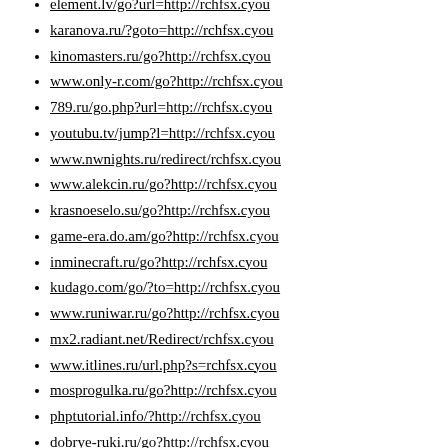element.lv/go?url=http://rchfsx.cyou
karanova.ru/?goto=http://rchfsx.cyou
kinomasters.ru/go?http://rchfsx.cyou
www.only-r.com/go?http://rchfsx.cyou
789.ru/go.php?url=http://rchfsx.cyou
youtubu.tv/jump?l=http://rchfsx.cyou
www.nwnights.ru/redirect/rchfsx.cyou
www.alekcin.ru/go?http://rchfsx.cyou
krasnoeselo.su/go?http://rchfsx.cyou
game-era.do.am/go?http://rchfsx.cyou
inminecraft.ru/go?http://rchfsx.cyou
kudago.com/go/?to=http://rchfsx.cyou
www.runiwar.ru/go?http://rchfsx.cyou
mx2.radiant.net/Redirect/rchfsx.cyou
www.itlines.ru/url.php?s=rchfsx.cyou
mosprogulka.ru/go?http://rchfsx.cyou
phptutorial.info/?http://rchfsx.cyou
dobrye-ruki.ru/go?http://rchfsx.cyou